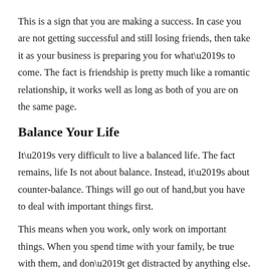This is a sign that you are making a success. In case you are not getting successful and still losing friends, then take it as your business is preparing you for what’s to come. The fact is friendship is pretty much like a romantic relationship, it works well as long as both of you are on the same page.
Balance Your Life
It’s very difficult to live a balanced life. The fact remains, life Is not about balance. Instead, it’s about counter-balance. Things will go out of hand,but you have to deal with important things first.
This means when you work, only work on important things. When you spend time with your family, be true with them, and don’t get distracted by anything else.